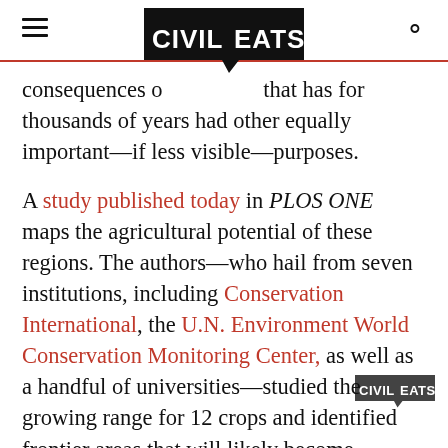Civil Eats
consequences of [Civil Eats logo] that has for thousands of years had other equally important—if less visible—purposes.
A study published today in PLOS ONE maps the agricultural potential of these regions. The authors—who hail from seven institutions, including Conservation International, the U.N. Environment World Conservation Monitoring Center, as well as a handful of universities—studied the growing range for 12 crops and identified frontier areas that will likely become hospitable to cool weather crops such as co[rn], soybeans, and potatoes by the end of the ce[ntury]. The land in question spans 6 to 15 million square